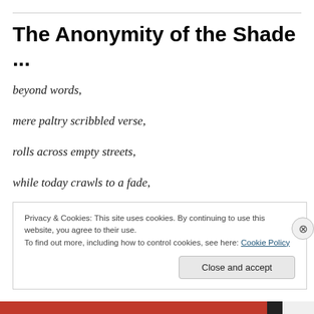The Anonymity of the Shade ...
beyond words,
mere paltry scribbled verse,
rolls across empty streets,
while today crawls to a fade,
as night descends,
Privacy & Cookies: This site uses cookies. By continuing to use this website, you agree to their use.
To find out more, including how to control cookies, see here: Cookie Policy